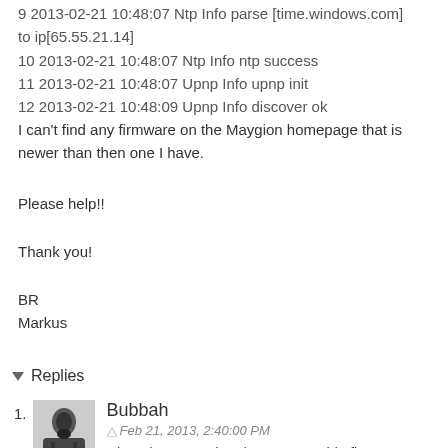9 2013-02-21 10:48:07 Ntp Info parse [time.windows.com] to ip[65.55.21.14]
10 2013-02-21 10:48:07 Ntp Info ntp success
11 2013-02-21 10:48:07 Upnp Info upnp init
12 2013-02-21 10:48:09 Upnp Info discover ok
I can't find any firmware on the Maygion homepage that is newer than then one I have.
Please help!!
Thank you!
BR
Markus
Reply
Replies
Bubbah
Feb 21, 2013, 2:40:00 PM
Hi Markus, Maygion does not provide firmware directly for the models that are sold under labels like Dericam, Cybernova, EyeSight. If you can find your model on those web sites, then